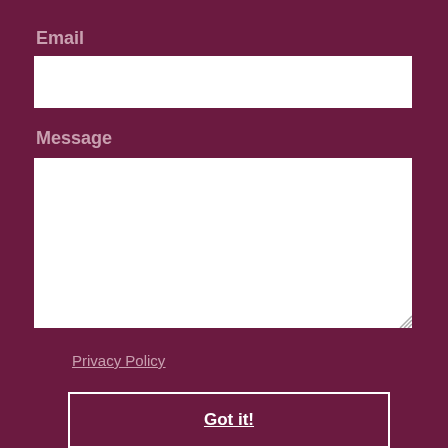Email
[Figure (screenshot): Empty white email input text field]
Message
[Figure (screenshot): Empty white message textarea input field with resize handle]
This website uses cookies to ensure you get the best experience on our website.
Privacy Policy
Got it!